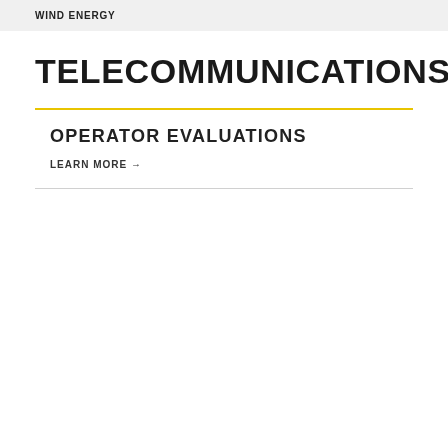WIND ENERGY
TELECOMMUNICATIONS
OPERATOR EVALUATIONS
LEARN MORE →